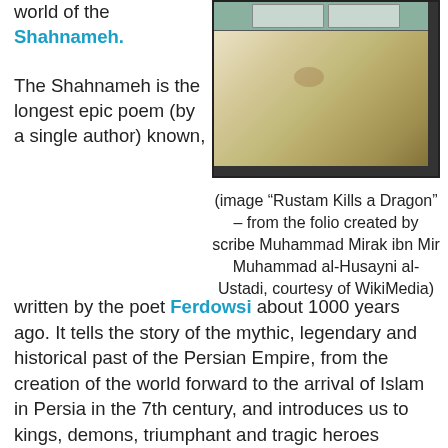world of the Shahnameh.
[Figure (photo): A folio page from a historical Persian manuscript, showing decorative panels at the top with text in Arabic/Persian script, and aged parchment with a brownish stain.]
(image “Rustam Kills a Dragon” – from the folio created by scribe Muhammad Mirak ibn Mir Muhammad al-Husayni al-Ustadi, courtesy of WikiMedia)
The Shahnameh is the longest epic poem (by a single author) known, written by the poet Ferdowsi about 1000 years ago. It tells the story of the mythic, legendary and historical past of the Persian Empire, from the creation of the world forward to the arrival of Islam in Persia in the 7th century, and introduces us to kings, demons, triumphant and tragic heroes throughout time. There is more than enough in the Shahnameh to create an incredible world for kids to game in, but what we were lacking, unfortunately, was time